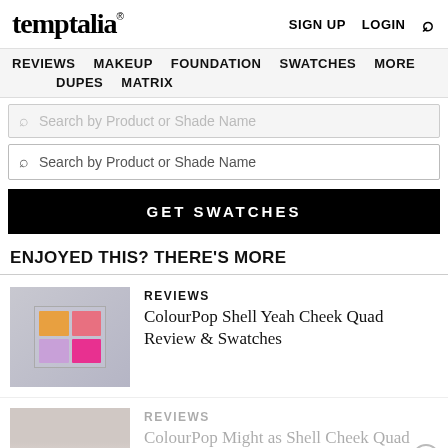temptalia® | SIGN UP | LOGIN | Search
REVIEWS  MAKEUP  FOUNDATION  SWATCHES  MORE  DUPES  MATRIX
Search by Product or Shade Name (faded)
Search by Product or Shade Name
GET SWATCHES
ENJOYED THIS? THERE'S MORE
REVIEWS
ColourPop Shell Yeah Cheek Quad Review & Swatches
[Figure (photo): ColourPop Shell Yeah Cheek Quad palette with four pans: orange, coral/pink, lavender, and hot pink arranged in a 2x2 grid inside a clear plastic compact]
REVIEWS
ColourPop Might as Shell Cheek Quad Review & Swatches